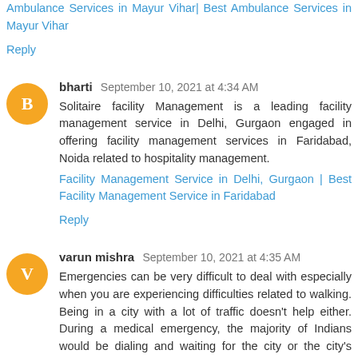Ambulance Services in Mayur Vihar| Best Ambulance Services in Mayur Vihar
Reply
bharti  September 10, 2021 at 4:34 AM
Solitaire facility Management is a leading facility management service in Delhi, Gurgaon engaged in offering facility management services in Faridabad, Noida related to hospitality management.
Facility Management Service in Delhi, Gurgaon | Best Facility Management Service in Faridabad
Reply
varun mishra  September 10, 2021 at 4:35 AM
Emergencies can be very difficult to deal with especially when you are experiencing difficulties related to walking. Being in a city with a lot of traffic doesn't help either. During a medical emergency, the majority of Indians would be dialing and waiting for the city or the city's emergency